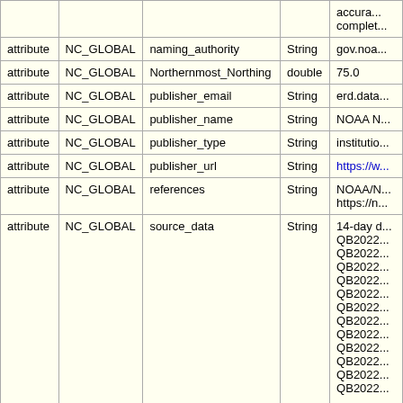|  |  |  |  | accura... complet... |
| --- | --- | --- | --- | --- |
| attribute | NC_GLOBAL | naming_authority | String | gov.noa... |
| attribute | NC_GLOBAL | Northernmost_Northing | double | 75.0 |
| attribute | NC_GLOBAL | publisher_email | String | erd.data... |
| attribute | NC_GLOBAL | publisher_name | String | NOAA N... |
| attribute | NC_GLOBAL | publisher_type | String | institutio... |
| attribute | NC_GLOBAL | publisher_url | String | https://w... |
| attribute | NC_GLOBAL | references | String | NOAA/N... https://n... |
| attribute | NC_GLOBAL | source_data | String | 14-day d... QB2022... QB2022... QB2022... QB2022... QB2022... QB2022... QB2022... QB2022... QB2022... QB2022... QB2022... QB2022... |